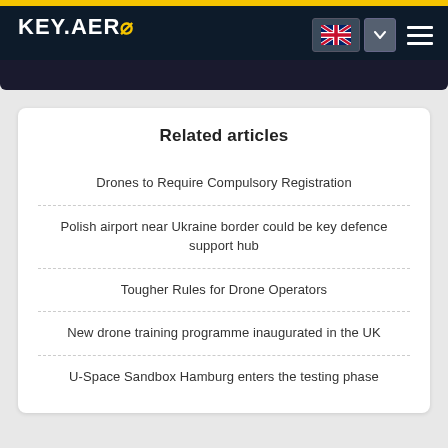KEY.AERO
Related articles
Drones to Require Compulsory Registration
Polish airport near Ukraine border could be key defence support hub
Tougher Rules for Drone Operators
New drone training programme inaugurated in the UK
U-Space Sandbox Hamburg enters the testing phase